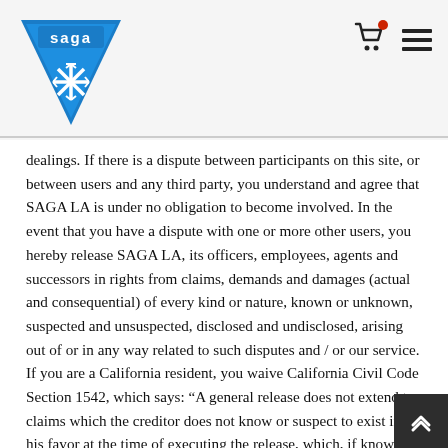[Figure (logo): SAGA logo: blue downward-pointing triangle with white snowflake and 'saga' text at top]
dealings. If there is a dispute between participants on this site, or between users and any third party, you understand and agree that SAGA LA is under no obligation to become involved. In the event that you have a dispute with one or more other users, you hereby release SAGA LA, its officers, employees, agents and successors in rights from claims, demands and damages (actual and consequential) of every kind or nature, known or unknown, suspected and unsuspected, disclosed and undisclosed, arising out of or in any way related to such disputes and / or our service. If you are a California resident, you waive California Civil Code Section 1542, which says: “A general release does not extend to claims which the creditor does not know or suspect to exist in his favor at the time of executing the release, which, if known by him must have materially affected his settlement with the debtor.”